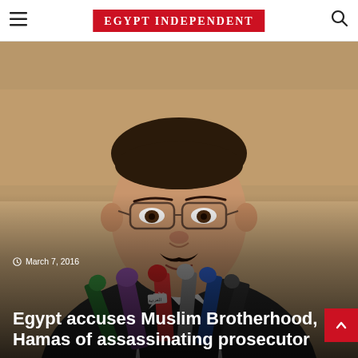EGYPT INDEPENDENT
[Figure (photo): A man in a dark suit speaking at a press conference surrounded by multiple microphones from various media outlets including MBC. He is wearing glasses and has a mustache.]
March 7, 2016
Egypt accuses Muslim Brotherhood, Hamas of assassinating prosecutor